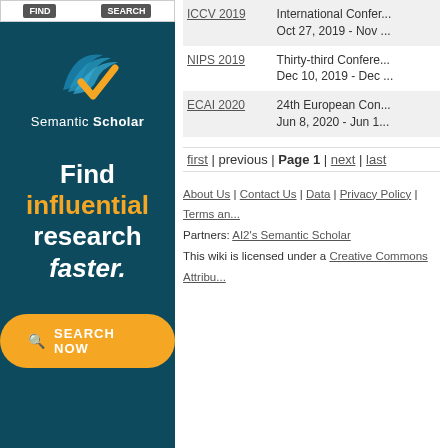[Figure (advertisement): Semantic Scholar advertisement banner with dark teal background, logo, 'Find influential research faster.' text, and 'SEARCH NOW' button]
| Conference | Details |
| --- | --- |
| ICCV 2019 | International Confer...
Oct 27, 2019 - Nov ... |
| NIPS 2019 | Thirty-third Confere...
Dec 10, 2019 - Dec ... |
| ECAI 2020 | 24th European Con...
Jun 8, 2020 - Jun 1... |
first | previous | Page 1 | next | last
About Us | Contact Us | Data | Privacy Policy | Terms an...
Partners: AI2's Semantic Scholar
This wiki is licensed under a Creative Commons Attribu...